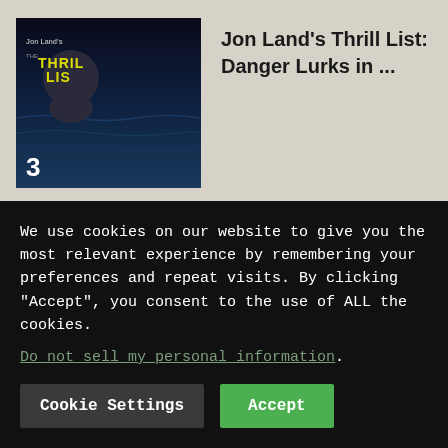[Figure (screenshot): Thumbnail image item 3: Jon Land's Thrill List dark ocean background with text overlay showing Jon Land's THE THRILL LIST and number 3]
Jon Land’s Thrill List: Danger Lurks in …
[Figure (screenshot): Thumbnail image item 4: Movie still from Nope showing two people in outdoor scene with number 4]
Nope review – Exhilarating sci-fi horror from …
[Figure (screenshot): Partial thumbnail with blue/purple gradient, article partially visible]
Band Named Silly Goose Raided Festival
We use cookies on our website to give you the most relevant experience by remembering your preferences and repeat visits. By clicking “Accept”, you consent to the use of ALL the cookies.
Do not sell my personal information.
Cookie Settings
Accept